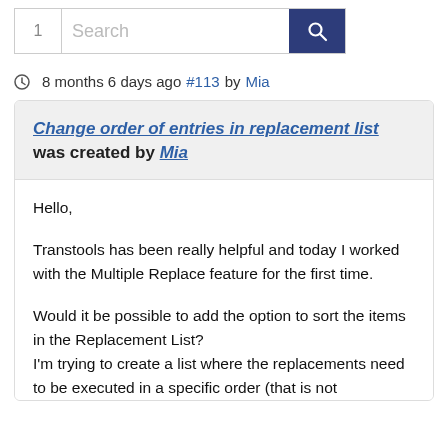[Figure (screenshot): Search bar with page number 1, text input placeholder 'Search', and a dark blue search button with magnifying glass icon]
8 months 6 days ago #113 by Mia
Change order of entries in replacement list was created by Mia
Hello,

Transtools has been really helpful and today I worked with the Multiple Replace feature for the first time.

Would it be possible to add the option to sort the items in the Replacement List?
I'm trying to create a list where the replacements need to be executed in a specific order (that is not